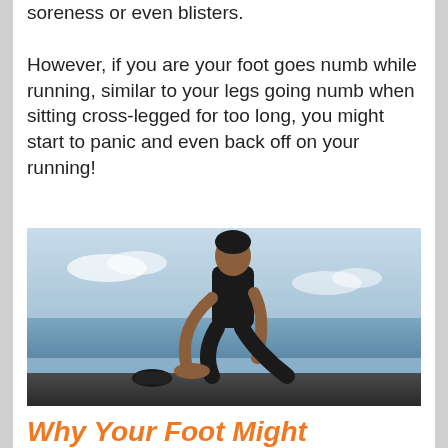soreness or even blisters.
However, if you are your foot goes numb while running, similar to your legs going numb when sitting cross-legged for too long, you might start to panic and even back off on your running!
[Figure (photo): A man in athletic wear kneeling on the ground near water, reaching down to touch his foot or shoe, with a running shoe placed beside him.]
Why Your Foot Might